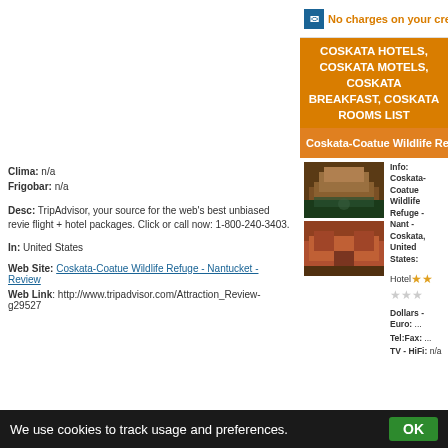No charges on your credit card: Book online, Pay at the h
COSKATA HOTELS, COSKATA MOTELS, COSKATA BREAKFAST, COSKATA ROOMS LIST
Coskata-Coatue Wildlife Refuge - Nantucket - R
[Figure (photo): Photo of a hotel building with pool at night]
[Figure (photo): Photo of a red/orange hotel building exterior]
Info: Coskata-Coatue Wildlife Refuge - Nant - Coskata, United States:
Hotel ★★☆☆☆
Dollars - Euro: ...
Tel:Fax: ...
TV - HiFi: n/a
Clima: n/a
Frigobar: n/a
Desc: TripAdvisor, your source for the web's best unbiased revie flight + hotel packages. Click or call now: 1-800-240-3403.
In: United States
Web Site: Coskata-Coatue Wildlife Refuge - Nantucket - Review
Web Link: http://www.tripadvisor.com/Attraction_Review-g29527
We use cookies to track usage and preferences.  OK